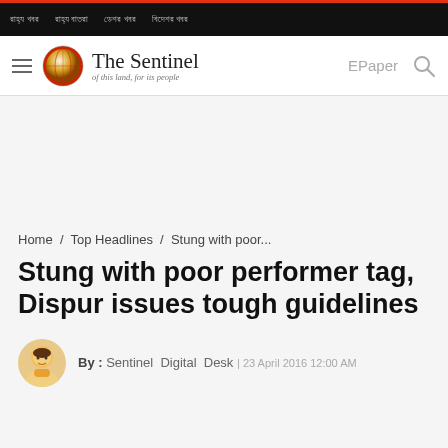Top nav bar with navigation links in Assamese script
[Figure (logo): The Sentinel newspaper logo with red globe icon and tagline 'of this land, for its people']
Home / Top Headlines / Stung with poor...
Stung with poor performer tag, Dispur issues tough guidelines
By : Sentinel Digital Desk | 23 April 2016 12:00 AM